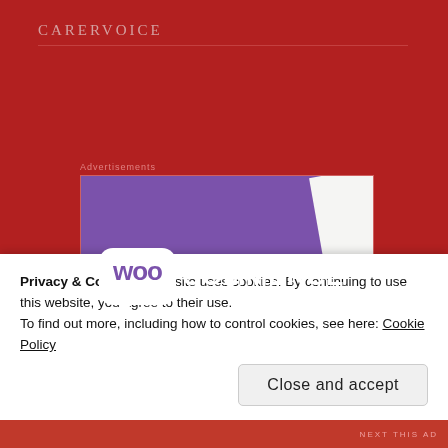CARERVOICE
Advertisements
[Figure (logo): WooCommerce advertisement banner with purple background, white paper fold top-right, orange shape bottom-right, and WooCommerce logo in white with speech bubble around 'woo']
Privacy & Cookies: This site uses cookies. By continuing to use this website, you agree to their use.
To find out more, including how to control cookies, see here: Cookie Policy
Close and accept